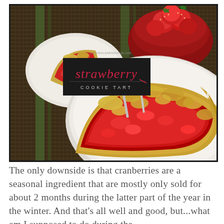[Figure (photo): A strawberry cookie tart photographed from above and close-up. The main image shows a large slice of strawberry tart on a white plate with a fork. In the upper left is a smaller inset photo of another slice on a plate. In the upper right is a red bowl filled with fresh strawberries. A black label overlay reads 'strawberry COOKIE TART' in stylized script. The background is a bamboo/woven mat.]
The only downside is that cranberries are a seasonal ingredient that are mostly only sold for about 2 months during the latter part of the year in the winter. And that's all well and good, but...what am I supposed to do during the